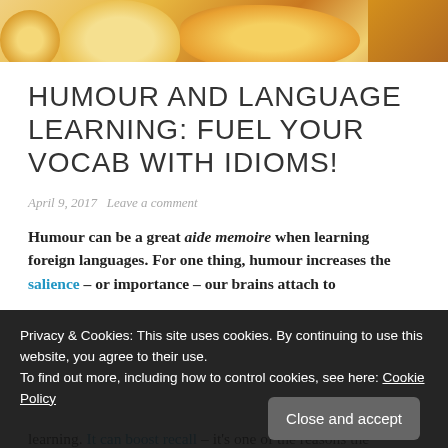[Figure (photo): Partial photograph showing what appears to be a yellow/orange stuffed animal or toy character, cropped at the top of the page.]
HUMOUR AND LANGUAGE LEARNING: FUEL YOUR VOCAB WITH IDIOMS!
April 9, 2017  Leave a comment
Humour can be a great aide memoire when learning foreign languages. For one thing, humour increases the salience – or importance – our brains attach to
Privacy & Cookies: This site uses cookies. By continuing to use this website, you agree to their use.
To find out more, including how to control cookies, see here: Cookie Policy
learning. It can boost recall – it's one of the reasons the